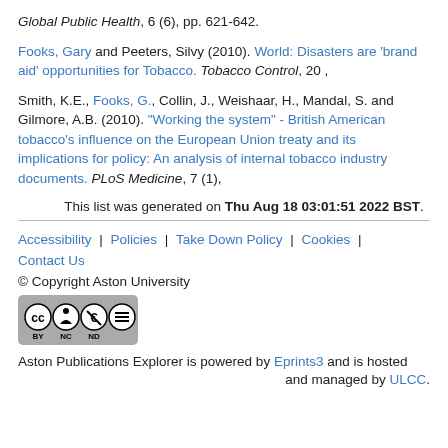Global Public Health, 6 (6), pp. 621-642.
Fooks, Gary and Peeters, Silvy (2010). World: Disasters are 'brand aid' opportunities for Tobacco. Tobacco Control, 20 ,
Smith, K.E., Fooks, G., Collin, J., Weishaar, H., Mandal, S. and Gilmore, A.B. (2010). "Working the system" - British American tobacco's influence on the European Union treaty and its implications for policy: An analysis of internal tobacco industry documents. PLoS Medicine, 7 (1),
This list was generated on Thu Aug 18 03:01:51 2022 BST.
Accessibility | Policies | Take Down Policy | Cookies | Contact Us
© Copyright Aston University
Aston Publications Explorer is powered by Eprints3 and is hosted and managed by ULCC.